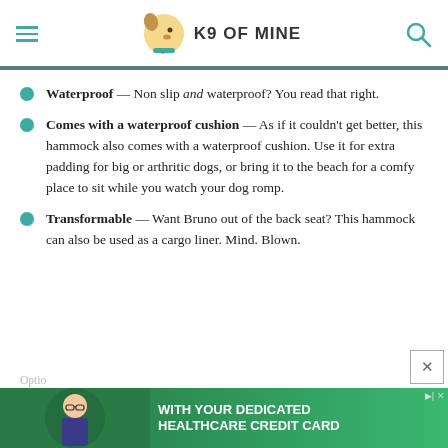K9 OF MINE
Waterproof — Non slip and waterproof? You read that right.
Comes with a waterproof cushion — As if it couldn't get better, this hammock also comes with a waterproof cushion. Use it for extra padding for big or arthritic dogs, or bring it to the beach for a comfy place to sit while you watch your dog romp.
Transformable — Want Bruno out of the back seat? This hammock can also be used as a cargo liner. Mind. Blown.
[Figure (other): Advertisement banner for a healthcare credit card showing a girl and text WITH YOUR DEDICATED HEALTHCARE CREDIT CARD]